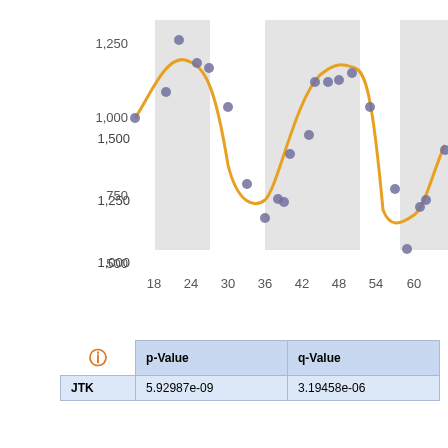[Figure (continuous-plot): Line chart with scatter points showing oscillating trend over time (x-axis: 18 to ~63, y-axis: 500 to ~1300). Orange smooth curve overlaid on grey scatter dots. Three alternating grey-shaded background bands highlighting periodic intervals around x~18-24, x~36-48, x~60+. Y-axis labels: 500, 750, 1000, 1250. X-axis labels: 18, 24, 30, 36, 42, 48, 54, 60.]
|  | p-Value | q-Value |
| --- | --- | --- |
| JTK | 5.92987e-09 | 3.19458e-06 |